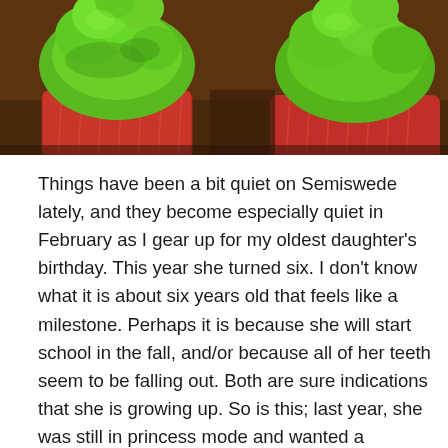[Figure (photo): Close-up photo of red velvet cupcakes with bright green frosting on a wooden surface]
Things have been a bit quiet on Semiswede lately, and they become especially quiet in February as I gear up for my oldest daughter's birthday. This year she turned six. I don't know what it is about six years old that feels like a milestone. Perhaps it is because she will start school in the fall, and/or because all of her teeth seem to be falling out. Both are sure indications that she is growing up. So is this; last year, she was still in princess mode and wanted a Rapunzel party. This year, we jumped straight to pre-teen with Monster High. Admittedly, I had to look up what Monster High is all about. Once I did, I got excited about the possibilities and we decided on a Venus McFlytrap goes to the Prom cake complimented by Chaudian (her